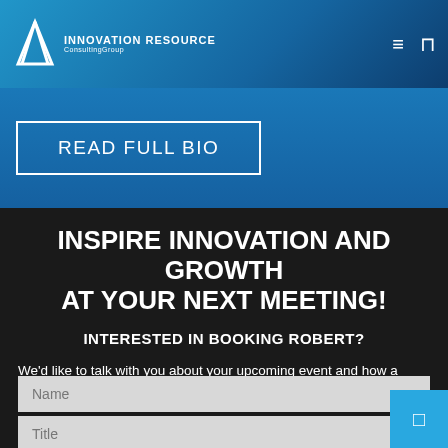INNOVATION RESOURCE Consulting Group
READ FULL BIO
INSPIRE INNOVATION AND GROWTH AT YOUR NEXT MEETING!
INTERESTED IN BOOKING ROBERT?
We'd like to talk with you about your upcoming event and how a customized presentation by Robert Tucker can help make it truly amazing. Give us a call today or fill out the form.  We'll be in touch shortly!